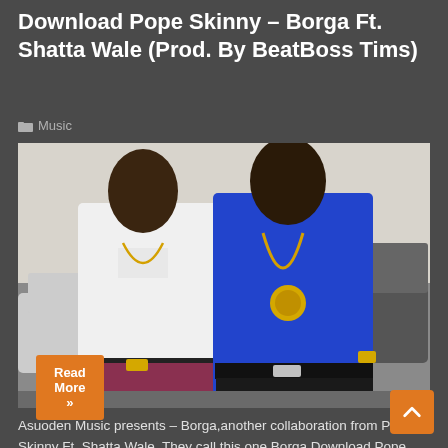Download Pope Skinny – Borga Ft. Shatta Wale (Prod. By BeatBoss Tims)
Music
[Figure (photo): Two men standing together outdoors. The man on the left wears a white polo shirt and gold chain. The man on the right wears a blue t-shirt with a large gold medallion necklace and a gold watch. Cars are visible in the background.]
Asuoden Music presents – Borga,another collaboration from Pope Skinny Ft. Shatta Wale. They call this one Borga.Download Pope Skinny – Borga Ft. Shatta Wale (Prod. By BeatBoss Tims). It's an upbeat mid-tempo tune you will love. share and enjoy.